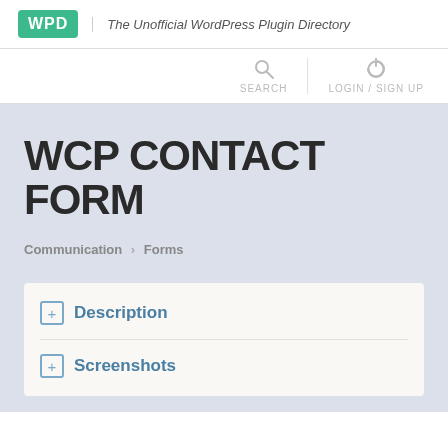WPD | The Unofficial WordPress Plugin Directory
WCP CONTACT FORM
Communication > Forms
⊞ Description
⊞ Screenshots